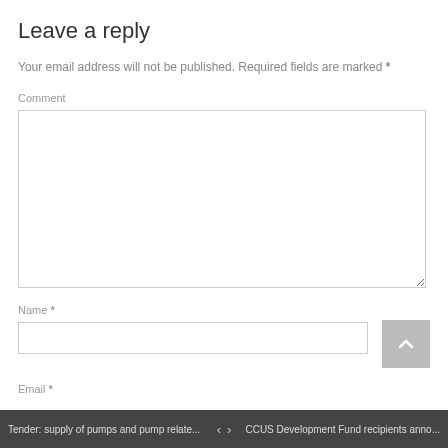Leave a reply
Your email address will not be published. Required fields are marked *
Comment
Name *
Email *
Tender: supply of pumps and pump relate...  <  >  CCUS Development Fund recipients anno...